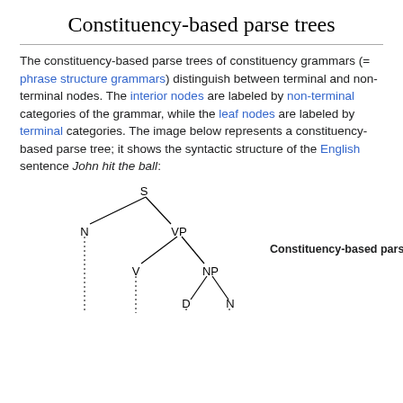Constituency-based parse trees
The constituency-based parse trees of constituency grammars (= phrase structure grammars) distinguish between terminal and non-terminal nodes. The interior nodes are labeled by non-terminal categories of the grammar, while the leaf nodes are labeled by terminal categories. The image below represents a constituency-based parse tree; it shows the syntactic structure of the English sentence John hit the ball:
[Figure (other): Constituency-based parse tree diagram showing a syntactic tree for 'John hit the ball'. Root node S branches to N and VP. VP branches to V and NP. NP branches to D and N. Terminal nodes shown with dotted lines. Label 'Constituency-based parse tree' appears to the right.]